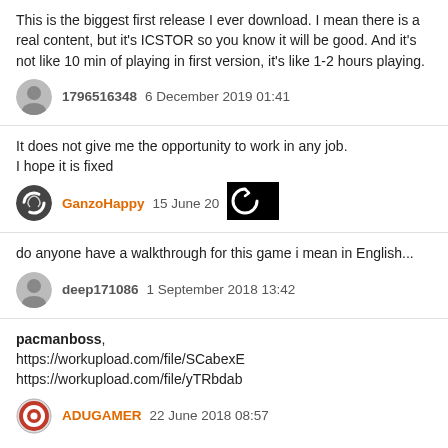This is the biggest first release I ever download. I mean there is a real content, but it's ICSTOR so you know it will be good. And it's not like 10 min of playing in first version, it's like 1-2 hours playing.
1796516348   6 December 2019 01:41
It does not give me the opportunity to work in any job.
I hope it is fixed
GanzoHappy   15 June 20...
do anyone have a walkthrough for this game i mean in English...
deep171086   1 September 2018 13:42
pacmanboss,
https://workupload.com/file/SCabexE
https://workupload.com/file/yTRbdab
ADUGAMER   22 June 2018 08:57